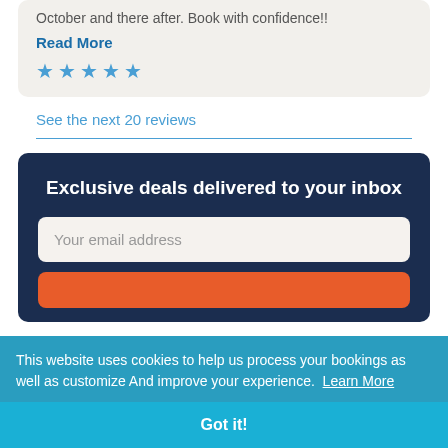October and there after. Book with confidence!!
Read More
[Figure (other): Five blue star rating icons]
See the next 20 reviews
Exclusive deals delivered to your inbox
Your email address
This website uses cookies to help us process your bookings as well as customize And improve your experience. Learn More
Got it!